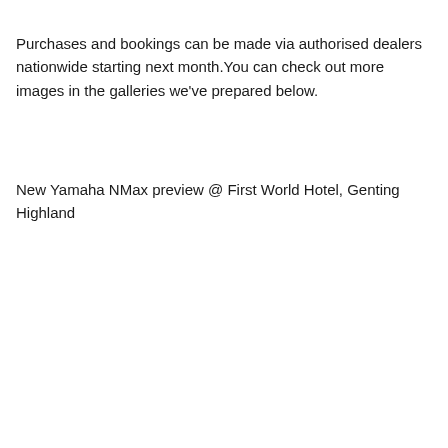Purchases and bookings can be made via authorised dealers nationwide starting next month.You can check out more images in the galleries we've prepared below.
New Yamaha NMax preview @ First World Hotel, Genting Highland